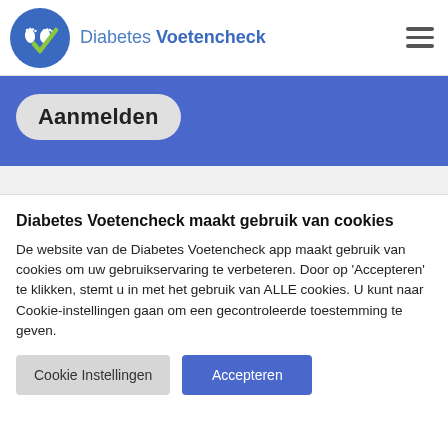[Figure (logo): Diabetes Voetencheck logo: blue circle with white footprints and green checkmark, followed by text 'Diabetes Voetencheck']
Aanmelden
Diabetes Voetencheck maakt gebruik van cookies
De website van de Diabetes Voetencheck app maakt gebruik van cookies om uw gebruikservaring te verbeteren. Door op 'Accepteren' te klikken, stemt u in met het gebruik van ALLE cookies. U kunt naar Cookie-instellingen gaan om een gecontroleerde toestemming te geven.
Cookie Instellingen | Accepteren